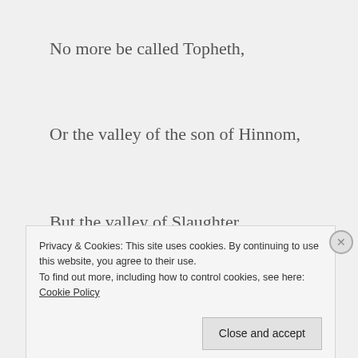No more be called Topheth,
Or the valley of the son of Hinnom,
But the valley of Slaughter.
In this place
I will make void
Privacy & Cookies: This site uses cookies. By continuing to use this website, you agree to their use.
To find out more, including how to control cookies, see here: Cookie Policy